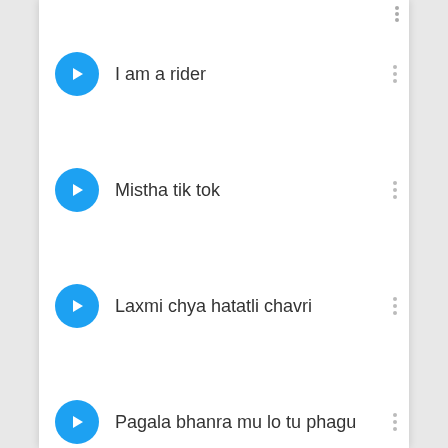I am a rider
Mistha tik tok
Laxmi chya hatatli chavri
Pagala bhanra mu lo tu phagu